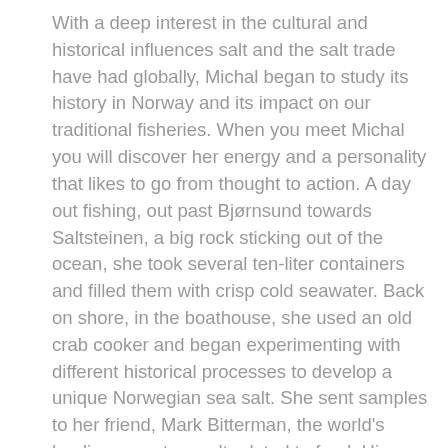With a deep interest in the cultural and historical influences salt and the salt trade have had globally, Michal began to study its history in Norway and its impact on our traditional fisheries. When you meet Michal you will discover her energy and a personality that likes to go from thought to action. A day out fishing, out past Bjørnsund towards Saltsteinen, a big rock sticking out of the ocean, she took several ten-liter containers and filled them with crisp cold seawater. Back on shore, in the boathouse, she used an old crab cooker and began experimenting with different historical processes to develop a unique Norwegian sea salt. She sent samples to her friend, Mark Bitterman, the world's leading expert on salt related to food. His response along with the responses of several great Scandinavian and American chefs told her she was on to something special. She recruited the help of her immediate family and together they created North Sea Salt Works.